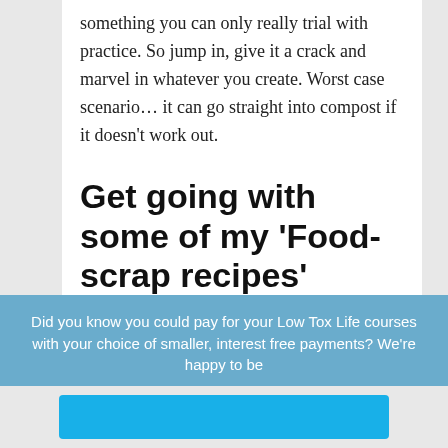something you can only really trial with practice. So jump in, give it a crack and marvel in whatever you create. Worst case scenario… it can go straight into compost if it doesn't work out.
Get going with some of my ‘Food-scrap recipes’
My ‘Fridge-Scrap Soup’ and ‘Buy-Nothing-New-Curry’ are probably my two go-to’s when the fridge is looking rather bare. They’re tried, tested
Did you know you could pay for your Low Tox Life courses with your choice of smaller, interest free payments? We’re happy to be